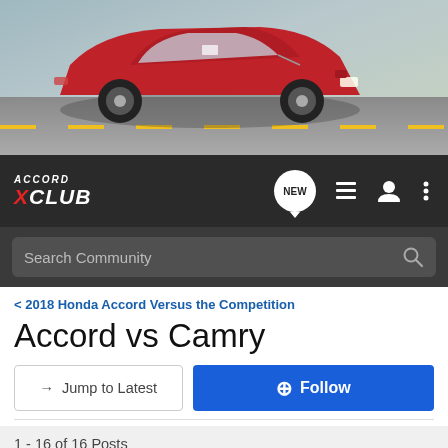[Figure (photo): Red Honda Accord sedan driving on a road, hero banner image for Accord X Club forum]
ACCORD X CLUB — navigation bar with NEW chat icon, menu icon, user icon, more options icon, and Search Community search bar
2018 Honda Accord Versus the Competition
Accord vs Camry
→ Jump to Latest
+ Follow
1 - 16 of 16 Posts
BoostedAccord · Registered
Joined Oct 17, 2017 · 242 Posts